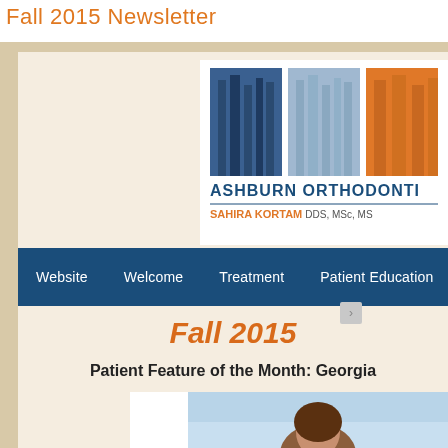Fall 2015 Newsletter
[Figure (logo): Ashburn Orthodontics logo with forest/trees imagery in blue and orange tones, with text 'ASHBURN ORTHODONTICS' and 'SAHIRA KORTAM DDS, MSc, MS']
Website   Welcome   Treatment   Patient Education
Fall 2015
Patient Feature of the Month: Georgia
[Figure (photo): Photo of a person (Georgia) from Ashburn Orthodontics patient feature, shown against a light blue sky background]